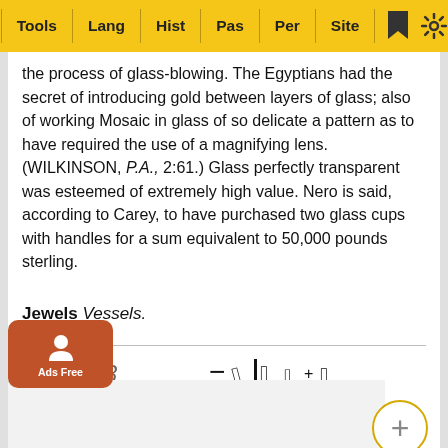Tools | Lang | Hist | Pas | Per | Site
the process of glass-blowing. The Egyptians had the secret of introducing gold between layers of glass; also of working Mosaic in glass of so delicate a pattern as to have required the use of a magnifying lens. (WILKINSON, P.A., 2:61.) Glass perfectly transparent was esteemed of extremely high value. Nero is said, according to Carey, to have purchased two glass cups with handles for a sum equivalent to 50,000 pounds sterling.
Jewels Vessels.
[Figure (illustration): Ancient Egyptian hieroglyphic symbols]
Verse 18
[Figure (illustration): Drawing of two ancient Egyptian figures facing each other, each blowing through a long tube into a central plant/vessel. A circle with plus sign appears on the right.]
Coral
Ramoth,
cogna…
the A…